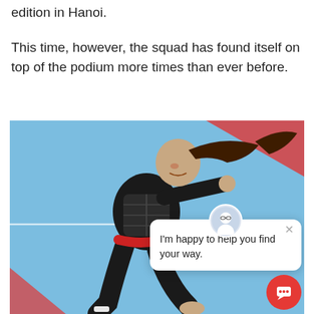edition in Hanoi.
This time, however, the squad has found itself on top of the podium more times than ever before.
[Figure (photo): A martial arts athlete in a black uniform with red belt and protective vest performing a technique on a blue mat. A chat assistant popup overlay is visible in the lower right with text 'I'm happy to help you find your way.' and a red chat button at the bottom right corner.]